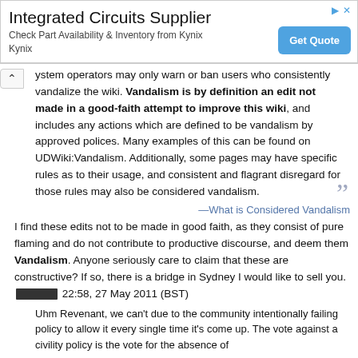[Figure (screenshot): Advertisement banner for Integrated Circuits Supplier — Kynix, with Get Quote button]
ystem operators may only warn or ban users who consistently vandalize the wiki. Vandalism is by definition an edit not made in a good-faith attempt to improve this wiki, and includes any actions which are defined to be vandalism by approved polices. Many examples of this can be found on UDWiki:Vandalism. Additionally, some pages may have specific rules as to their usage, and consistent and flagrant disregard for those rules may also be considered vandalism.
—What is Considered Vandalism
I find these edits not to be made in good faith, as they consist of pure flaming and do not contribute to productive discourse, and deem them Vandalism. Anyone seriously care to claim that these are constructive? If so, there is a bridge in Sydney I would like to sell you. [redacted] 22:58, 27 May 2011 (BST)
Uhm Revenant, we can't due to the community intentionally failing policy to allow it every single time it's come up. The vote against a civility policy is the vote for the absence of